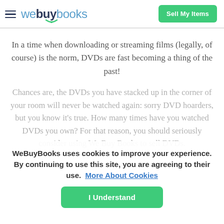webuybooks — Sell My Items
In a time when downloading or streaming films (legally, of course) is the norm, DVDs are fast becoming a thing of the past!
Chances are, the DVDs you have stacked up in the corner of your room will never be watched again: sorry DVD hoarders, but you know it's true. How many times have you watched DVDs you own? For that reason, you should seriously consider using We Buy Books to sell DVDs.
WeBuyBooks uses cookies to improve your experience. By continuing to use this site, you are agreeing to their use. More About Cookies
I Understand